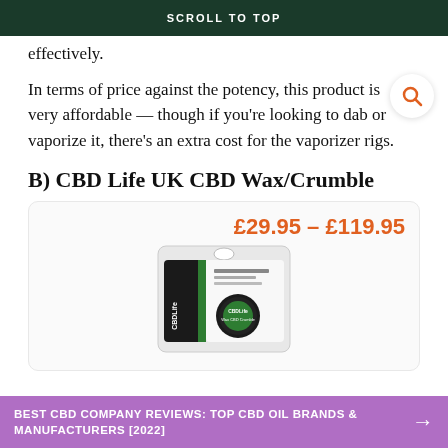SCROLL TO TOP
effectively.
In terms of price against the potency, this product is very affordable — though if you're looking to dab or vaporize it, there's an extra cost for the vaporizer rigs.
B) CBD Life UK CBD Wax/Crumble
£29.95 – £119.95
[Figure (photo): CBD Life UK CBD Wax/Crumble product in blister packaging showing a small round container with green and black label]
BEST CBD COMPANY REVIEWS: TOP CBD OIL BRANDS & MANUFACTURERS [2022]